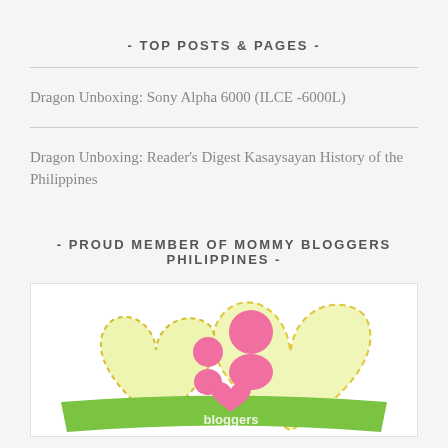- TOP POSTS & PAGES -
Dragon Unboxing: Sony Alpha 6000 (ILCE -6000L)
Dragon Unboxing: Reader's Digest Kasaysayan History of the Philippines
- PROUD MEMBER OF MOMMY BLOGGERS PHILIPPINES -
[Figure (logo): Mommy Bloggers Philippines logo: yellow-green heart shapes with dashed outlines, pink circle figures representing a mother and children, green banner/ribbon at the bottom with text 'bloggers']